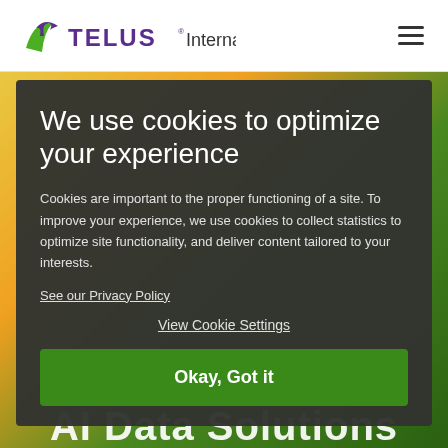TELUS International
We use cookies to optimize your experience
Cookies are important to the proper functioning of a site. To improve your experience, we use cookies to collect statistics to optimize site functionality, and deliver content tailored to your interests.
See our Privacy Policy
View Cookie Settings
Okay, Got it
AI Data Solutions